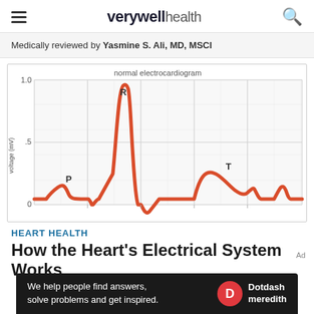verywell health
Medically reviewed by Yasmine S. Ali, MD, MSCI
[Figure (continuous-plot): Normal electrocardiogram (ECG) waveform chart showing voltage (mV) on y-axis (0 to 1.0) with labeled P wave, R wave (peak ~0.9 mV), and T wave. The waveform is shown in red on a grid background.]
HEART HEALTH
How the Heart's Electrical System Works